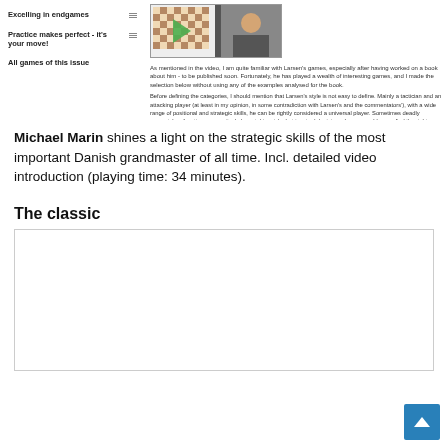Excelling in endgames
Practice makes perfect - it's your move!
All games of this issue
[Figure (screenshot): Chess video thumbnail showing a chessboard and a person, with a green play button overlay]
As mentioned in the video, I am quite familiar with Larsen's games, especially after having worked on a book about him - to be published soon. Fortunately, he has played a wealth of interesting games, and I made the selection below without using any of the examples analysed for the book.
Before defining the categories, I should mention that Larsen's style is not easy to define. Mainly a tactician and an attacking player (at least in my opinion, in some contradiction with Larsen's and the commentators'), with a wide range of positional and strategic skills, he can be rightly considered a universal player. Sometimes deadly accurately, other times a practical player taking risky but inspired decisions. Larsen could never find the right balance between all these elements, in order to become more than... an elite player for several decades.
Michael Marin shines a light on the strategic skills of the most important Danish grandmaster of all time. Incl. detailed video introduction (playing time: 34 minutes).
The classic
[Figure (other): Empty bordered box representing a chess game viewer or content area]